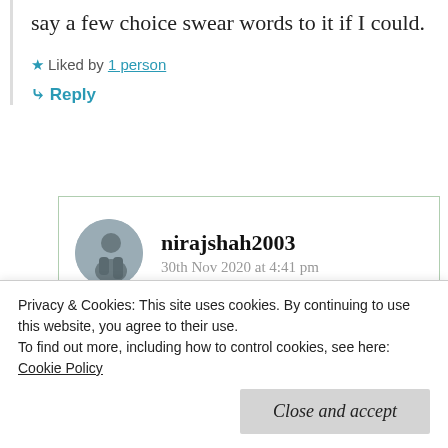say a few choice swear words to it if I could.
★ Liked by 1 person
↳ Reply
nirajshah2003
30th Nov 2020 at 4:41 pm
↳ Reply
Privacy & Cookies: This site uses cookies. By continuing to use this website, you agree to their use.
To find out more, including how to control cookies, see here: Cookie Policy
Close and accept